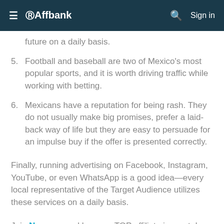☰ @Affbank  🔍  Sign in
future on a daily basis.
5. Football and baseball are two of Mexico's most popular sports, and it is worth driving traffic while working with betting.
6. Mexicans have a reputation for being rash. They do not usually make big promises, prefer a laid-back way of life but they are easy to persuade for an impulse buy if the offer is presented correctly.
Finally, running advertising on Facebook, Instagram, YouTube, or even WhatsApp is a good idea—every local representative of the Target Audience utilizes these services on a daily basis.
Join Neogara and become TOP affiliate in crypto!